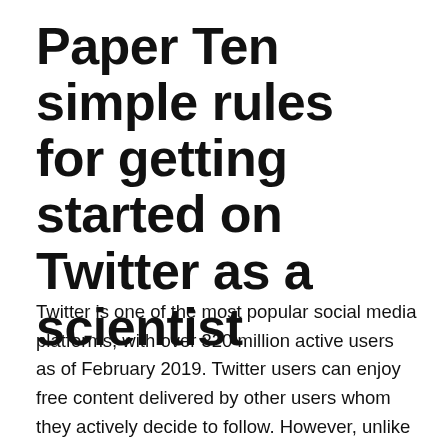Paper Ten simple rules for getting started on Twitter as a scientist
Twitter is one of the most popular social media platforms, with over 320 million active users as of February 2019. Twitter users can enjoy free content delivered by other users whom they actively decide to follow. However, unlike in other areas where Twitter is used passively (e.g., to follow influential figures and/or information agencies), in science it can be used in a much